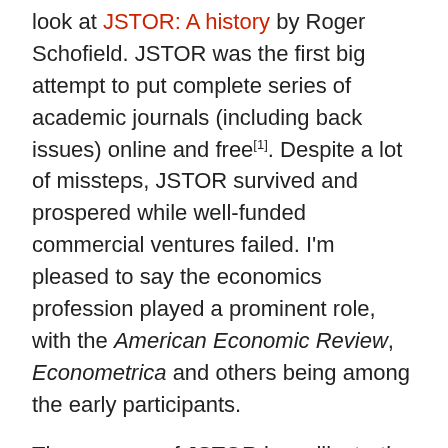look at JSTOR: A history by Roger Schofield. JSTOR was the first big attempt to put complete series of academic journals (including back issues) online and free[1]. Despite a lot of missteps, JSTOR survived and prospered while well-funded commercial ventures failed. I'm pleased to say the economics profession played a prominent role, with the American Economic Review, Econometrica and others being among the early participants.
The success of JSTOR is an illustration of the proposition, put forward most clearly by Clay Shirky that the economics of the Internet favour the free provision of content by those seeking fame (taken generally to include anyone who has something to say and wants others to read it) over fee-based content created by those seeking fortune.